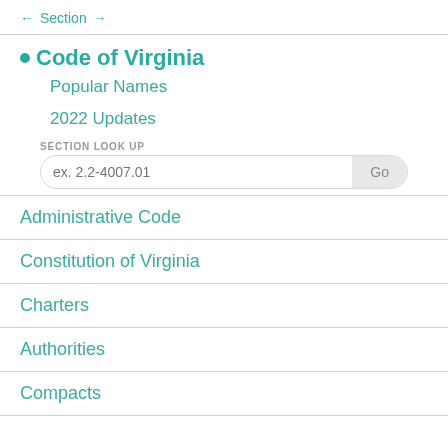← Section →
• Code of Virginia
Popular Names
2022 Updates
SECTION LOOK UP
ex. 2.2-4007.01
Administrative Code
Constitution of Virginia
Charters
Authorities
Compacts